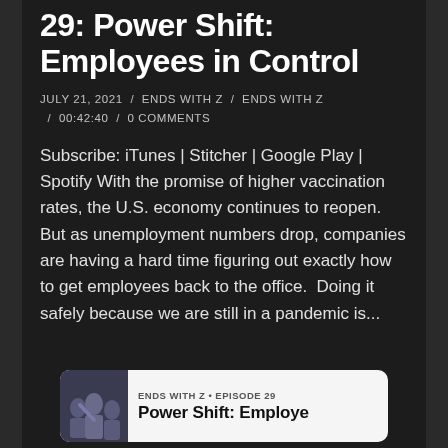29: Power Shift: Employees in Control
JULY 21, 2021 / ENDS WITH Z / ENDS WITH Z / 00:42:40 / 0 COMMENTS
Subscribe: iTunes | Stitcher | Google Play | Spotify With the promise of higher vaccination rates, the U.S. economy continues to reopen.  But as unemployment numbers drop, companies are having a hard time figuring out exactly how to get employees back to the office.  Doing it safely because we are still in a pandemic is...
[Figure (other): Podcast episode card with thumbnail image of people and text: ENDS WITH Z • EPISODE 29 / Power Shift: Employe...]